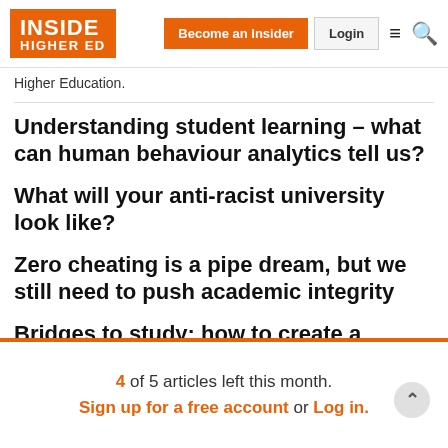Inside Higher Ed — Become an Insider | Login
Higher Education.
Understanding student learning – what can human behaviour analytics tell us?
What will your anti-racist university look like?
Zero cheating is a pipe dream, but we still need to push academic integrity
Bridges to study: how to create a successful online foundation course
4 of 5 articles left this month. Sign up for a free account or Log in.